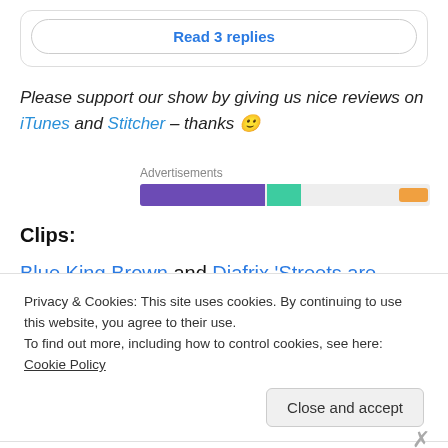Read 3 replies
Please support our show by giving us nice reviews on iTunes and Stitcher – thanks 🙂
[Figure (infographic): Advertisements progress bar with purple, teal, grey and orange segments]
Clips:
Blue King Brown and Diafrix 'Streets are Getting Hot' –
Privacy & Cookies: This site uses cookies. By continuing to use this website, you agree to their use.
To find out more, including how to control cookies, see here: Cookie Policy
Close and accept